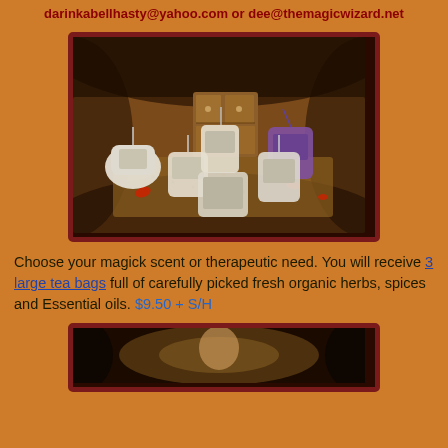darinkabellhasty@yahoo.com or dee@themagicwizard.net
[Figure (photo): Collection of herb sachets and tea bags arranged on a decorative surface with dried herbs, spices, and rose petals, with a wooden box in the background]
Choose your magick scent or therapeutic need. You will receive 3 large tea bags full of carefully picked fresh organic herbs, spices and Essential oils. $9.50 + S/H
[Figure (photo): Partially visible second product photo at bottom of page]